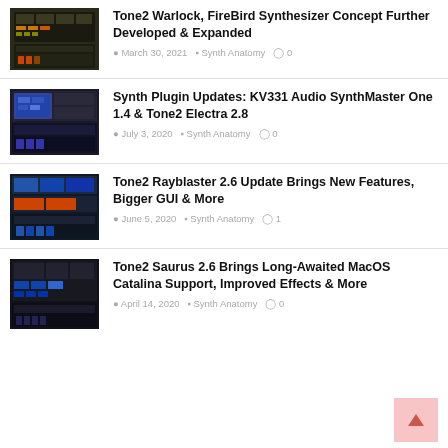[Figure (screenshot): Thumbnail image of Tone2 Warlock/FireBird synthesizer UI]
Tone2 Warlock, FireBird Synthesizer Concept Further Developed & Expanded
March 30, 2021  Synth Anatomy  0
[Figure (screenshot): Thumbnail image of KV331 Audio SynthMaster / Tone2 Electra synthesizer UI]
Synth Plugin Updates: KV331 Audio SynthMaster One 1.4 & Tone2 Electra 2.8
July 3, 2020  Synth Anatomy  0
[Figure (screenshot): Thumbnail image of Tone2 Rayblaster synthesizer UI]
Tone2 Rayblaster 2.6 Update Brings New Features, Bigger GUI & More
June 5, 2020  Synth Anatomy  1
[Figure (screenshot): Thumbnail image of Tone2 Saurus synthesizer UI]
Tone2 Saurus 2.6 Brings Long-Awaited MacOS Catalina Support, Improved Effects & More
April 14, 2020  Synth Anatomy  0